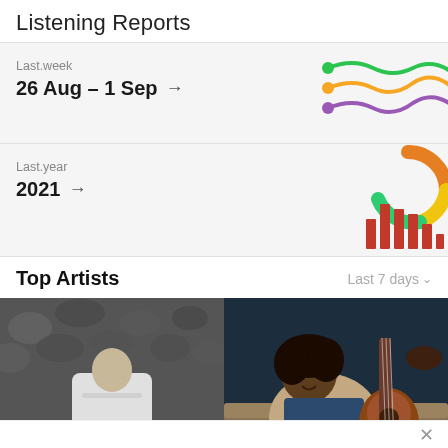Listening Reports
Last.week
26 Aug – 1 Sep →
[Figure (illustration): Colorful wavy crossing lines icon in green, orange, and purple]
Last.year
2021 →
[Figure (illustration): Donut chart segment in orange, yellow, green and bar chart in red below it]
Top Artists
Last 7 days ∨
[Figure (photo): Two artist photos side by side: left is black and white photo of person in white hoodie covering face, right is color photo of man playing guitar on a couch]